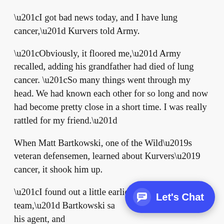“I got bad news today, and I have lung cancer,” Kurvers told Army.
“Obviously, it floored me,” Army recalled, adding his grandfather had died of lung cancer. “So many things went through my head. We had known each other for so long and now had become pretty close in a short time. I was really rattled for my friend.”
When Matt Bartkowski, one of the Wild’s veteran defensemen, learned about Kurvers’ cancer, it shook him up.
“I found out a little earlier than the rest of the team,” Bartkowski sa[id through] Dan Grillo, his agent, and…